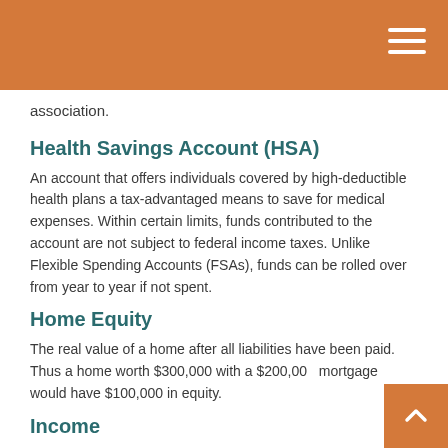association.
Health Savings Account (HSA)
An account that offers individuals covered by high-deductible health plans a tax-advantaged means to save for medical expenses. Within certain limits, funds contributed to the account are not subject to federal income taxes. Unlike Flexible Spending Accounts (FSAs), funds can be rolled over from year to year if not spent.
Home Equity
The real value of a home after all liabilities have been paid. Thus a home worth $300,000 with a $200,000 mortgage would have $100,000 in equity.
Income